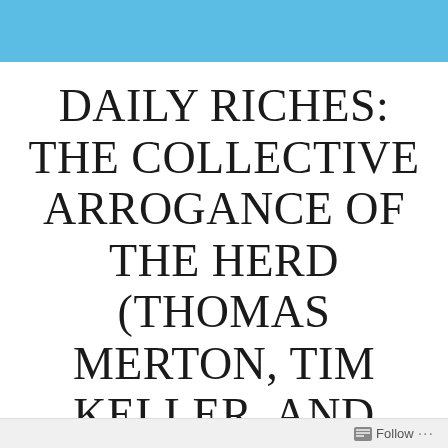[Figure (other): Light blue decorative header bar at the top of the page]
DAILY RICHES: THE COLLECTIVE ARROGANCE OF THE HERD (THOMAS MERTON, TIM KELLER, AND AUGUSTINE OF HIPPO)
Follow ...